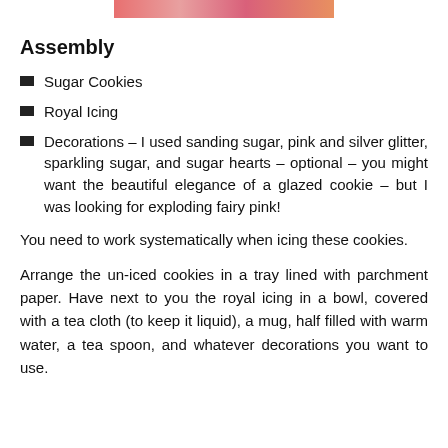[Figure (photo): Partial photo of decorated pink cookies at top of page]
Assembly
Sugar Cookies
Royal Icing
Decorations – I used sanding sugar, pink and silver glitter, sparkling sugar, and sugar hearts – optional – you might want the beautiful elegance of a glazed cookie – but I was looking for exploding fairy pink!
You need to work systematically when icing these cookies.
Arrange the un-iced cookies in a tray lined with parchment paper. Have next to you the royal icing in a bowl, covered with a tea cloth (to keep it liquid), a mug, half filled with warm water, a tea spoon, and whatever decorations you want to use.